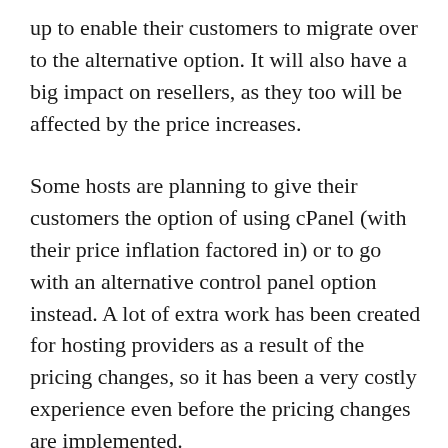up to enable their customers to migrate over to the alternative option. It will also have a big impact on resellers, as they too will be affected by the price increases.
Some hosts are planning to give their customers the option of using cPanel (with their price inflation factored in) or to go with an alternative control panel option instead. A lot of extra work has been created for hosting providers as a result of the pricing changes, so it has been a very costly experience even before the pricing changes are implemented.